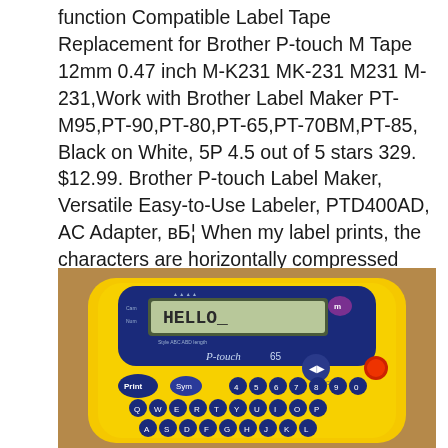function Compatible Label Tape Replacement for Brother P-touch M Tape 12mm 0.47 inch M-K231 MK-231 M231 M-231,Work with Brother Label Maker PT-M95,PT-90,PT-80,PT-65,PT-70BM,PT-85, Black on White, 5P 4.5 out of 5 stars 329. $12.99. Brother P-touch Label Maker, Versatile Easy-to-Use Labeler, PTD400AD, AC Adapter, вБ¦ When my label prints, the characters are horizontally compressed and not shaped correctly, why?.
[Figure (photo): Photo of a yellow Brother P-touch 65 label maker with blue keyboard and display showing HELLO_]